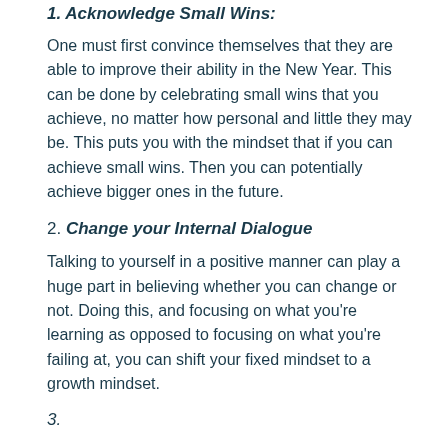1. Acknowledge Small Wins:
One must first convince themselves that they are able to improve their ability in the New Year. This can be done by celebrating small wins that you achieve, no matter how personal and little they may be. This puts you with the mindset that if you can achieve small wins. Then you can potentially achieve bigger ones in the future.
2. Change your Internal Dialogue
Talking to yourself in a positive manner can play a huge part in believing whether you can change or not. Doing this, and focusing on what you're learning as opposed to focusing on what you're failing at, you can shift your fixed mindset to a growth mindset.
3.